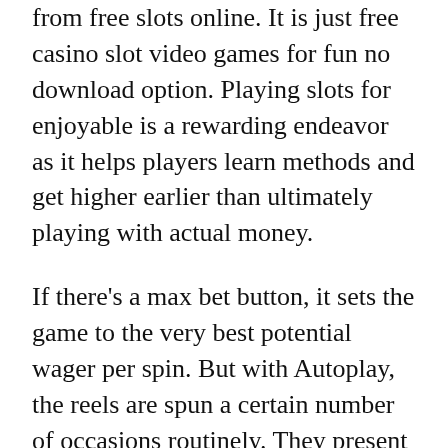from free slots online. It is just free casino slot video games for fun no download option. Playing slots for enjoyable is a rewarding endeavor as it helps players learn methods and get higher earlier than ultimately playing with actual money.
If there's a max bet button, it sets the game to the very best potential wager per spin. But with Autoplay, the reels are spun a certain number of occasions routinely. They present genuine Vegas on line casino slots, with a no-spam guarantee. They never ask in your email address or bombard you with pop-up adverts. To play, you first create your character, then it is time to explore. A lot of our players say that after you uncover the fun available, you will by no means need to go back to plain old slots. If you want would like to play the newest Vegas slots for free on cellular, visit our cellular slots page.